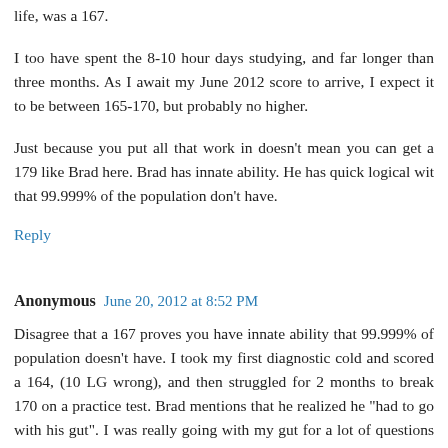life, was a 167.
I too have spent the 8-10 hour days studying, and far longer than three months. As I await my June 2012 score to arrive, I expect it to be between 165-170, but probably no higher.
Just because you put all that work in doesn't mean you can get a 179 like Brad here. Brad has innate ability. He has quick logical wit that 99.999% of the population don't have.
Reply
Anonymous June 20, 2012 at 8:52 PM
Disagree that a 167 proves you have innate ability that 99.999% of population doesn't have. I took my first diagnostic cold and scored a 164, (10 LG wrong), and then struggled for 2 months to break 170 on a practice test. Brad mentions that he realized he "had to go with his gut". I was really going with my gut for a lot of questions on my first diag, and for me it was really difficult to have the discipline to learn the fundamentals- in some ways it is hard to learn